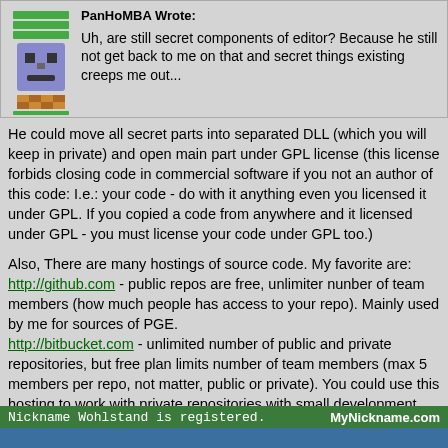PanHoMBA Wrote: Uh, are still secret components of editor? Because he still not get back to me on that and secret things existing creeps me out...
He could move all secret parts into separated DLL (which you will keep in private) and open main part under GPL license (this license forbids closing code in commercial software if you not an author of this code: I.e.: your code - do with it anything even you licensed it under GPL. If you copied a code from anywhere and it licensed under GPL - you must license your code under GPL too.)

Also, There are many hostings of source code. My favorite are:
http://github.com - public repos are free, unlimiter nunber of team members (how much people has access to your repo). Mainly used by me for sources of PGE.
http://bitbucket.com - unlimited number of public and private repositories, but free plan limits number of team members (max 5 members per repo, not matter, public or private). You could use this hosting to work with private repositories with small development team or just yourself.
(also don't forget that you has a version control system which helps to record history of your changes and you able to look back for old code pieces or return back if you (or one of co-developers) are broke code/build).
[Figure (screenshot): Screenshot showing 'Nickname Wohlstand is registered.' with MyNickname.com branding on a green bar, and a blue bar below.]